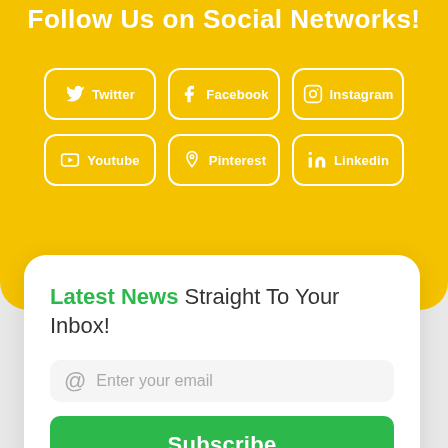Follow Us on Social Networks!
[Figure (infographic): Six social media buttons arranged in a 3x2 grid on a yellow background: Twitter, Facebook, Instagram (top row), Youtube, Pinterest, Linkedin (bottom row). Each button has a white border, rounded corners, an icon, and white text.]
Latest News Straight To Your Inbox!
Enter your email
Subscribe
No spam. Unsubscribe anytime.